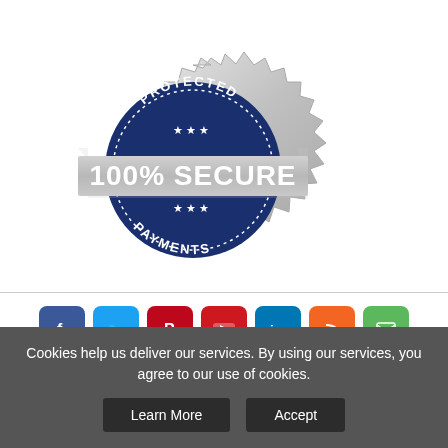[Figure (logo): Protected 100% Secure Payments badge — silver gear-like circular seal with dark blue circle in center, text PROTECTED arced on top, three stars, 100% SECURE in large bold white text on a silver banner across the middle, three stars below, PAYMENTS arced at bottom]
[Figure (infographic): Row of 7 social media icon buttons: Facebook (blue), Twitter (light blue), Pinterest (red), YouTube (red), LinkedIn (blue), RSS (orange), Email/envelope (green)]
Tennis Only Store   Cookie Consent Policy   Site Map
Terms & Conditions   Shopping Basket   Privacy Policy
Cookies help us deliver our services. By using our services, you agree to our use of cookies.
Learn More   Accept